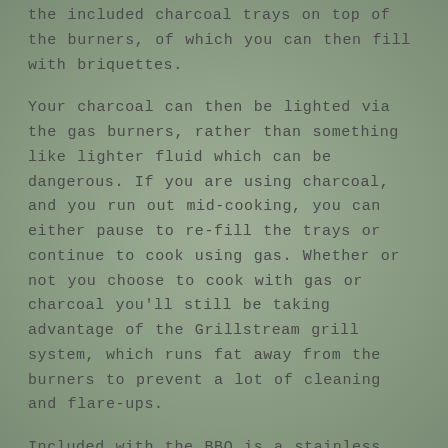the included charcoal trays on top of the burners, of which you can then fill with briquettes.
Your charcoal can then be lighted via the gas burners, rather than something like lighter fluid which can be dangerous. If you are using charcoal, and you run out mid-cooking, you can either pause to re-fill the trays or continue to cook using gas. Whether or not you choose to cook with gas or charcoal you'll still be taking advantage of the Grillstream grill system, which runs fat away from the burners to prevent a lot of cleaning and flare-ups.
Included with the BBQ is a stainless steel warming rack, griddle plate, bottle opener and an integral side burner with steak shelf. Its storage cabinet provides practical space, whilst the removable fat cup ensures simple cleaning after use. Lockable castors hold the BBQ in place